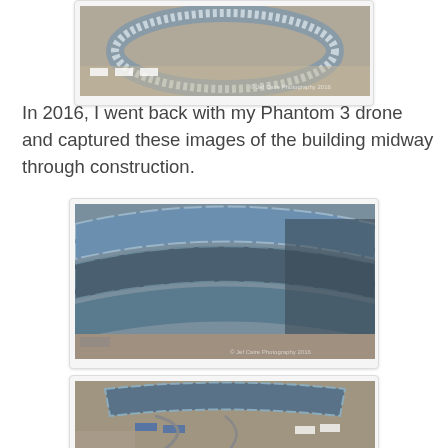[Figure (photo): Aerial drone photo of a large circular building (Apple Park) under construction, showing the ring-shaped structure from above with construction equipment and materials surrounding it. Copyright watermark visible.]
In 2016, I went back with my Phantom 3 drone and captured these images of the building midway through construction.
[Figure (photo): Close-up aerial drone photo of the curved glass and steel facade of the Apple Park ring building under construction, showing detailed view of the curtain wall system with blue glass panels and dark roofing materials.]
[Figure (photo): Aerial drone photo showing the Apple Park construction site from a wider angle, with the curved building structure visible along with surrounding construction vehicles, temporary structures, and landscaping in progress.]